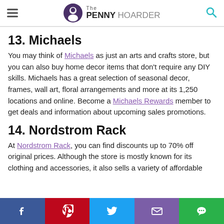The PENNY HOARDER
13. Michaels
You may think of Michaels as just an arts and crafts store, but you can also buy home decor items that don't require any DIY skills. Michaels has a great selection of seasonal decor, frames, wall art, floral arrangements and more at its 1,250 locations and online. Become a Michaels Rewards member to get deals and information about upcoming sales promotions.
14. Nordstrom Rack
At Nordstrom Rack, you can find discounts up to 70% off original prices. Although the store is mostly known for its clothing and accessories, it also sells a variety of affordable
[Figure (infographic): Social media share bar with Facebook, Pinterest, Twitter, email, and chat buttons]